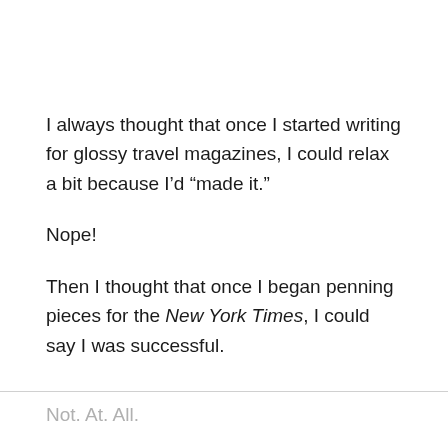I always thought that once I started writing for glossy travel magazines, I could relax a bit because I’d “made it.”
Nope!
Then I thought that once I began penning pieces for the New York Times, I could say I was successful.
Not. At. All.